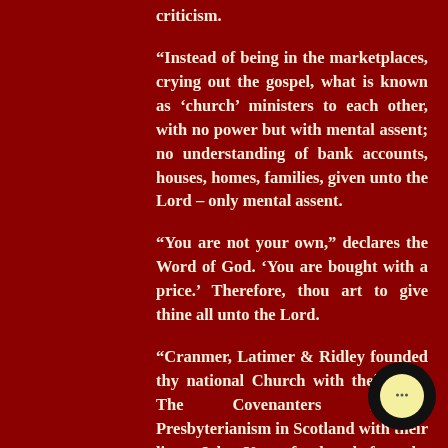criticism.
“Instead of being in the marketplaces, crying out the gospel, what is known as ‘church’ ministers to each other, with no power but with mental assent; no understanding of bank accounts, houses, homes, families, given unto the Lord – only mental assent.
“You are not your own,” declares the Word of God. ‘You are bought with a price.’ Therefore, thou art to give thine all unto the Lord.
“Cranmer, Latimer & Ridley founded thy national Church with their lives. The Covenanters founded Presbyterianism in Scotland with their lives, John Knox fearless before the world system, in